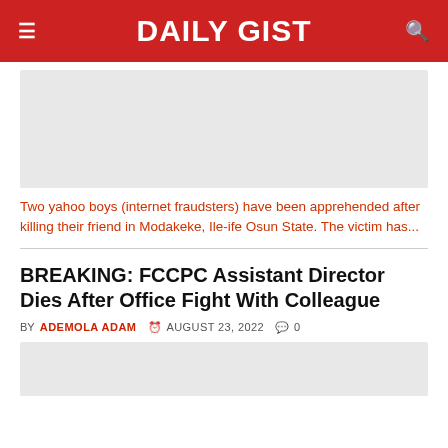DAILY GIST
[Figure (photo): Article image placeholder (light gray)]
Two yahoo boys (internet fraudsters) have been apprehended after killing their friend in Modakeke, Ile-ife Osun State. The victim has...
BREAKING: FCCPC Assistant Director Dies After Office Fight With Colleague
BY ADEMOLA ADAM  AUGUST 23, 2022  0
[Figure (photo): Article image placeholder (light gray, partial)]